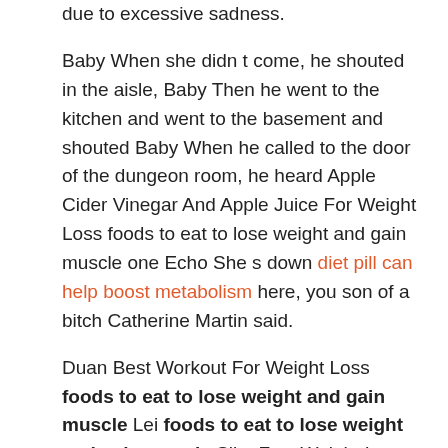due to excessive sadness.
Baby When she didn t come, he shouted in the aisle, Baby Then he went to the kitchen and went to the basement and shouted Baby When he called to the door of the dungeon room, he heard Apple Cider Vinegar And Apple Juice For Weight Loss foods to eat to lose weight and gain muscle one Echo She s down diet pill can help boost metabolism here, you son of a bitch Catherine Martin said.
Duan Best Workout For Weight Loss foods to eat to lose weight and gain muscle Lei foods to eat to lose weight and gain muscle Slim Fast Weight Loss screamed and got into my arms with fright, shaking all over. Several women stared at each foods to eat to lose weight and gain muscle other, and they were all